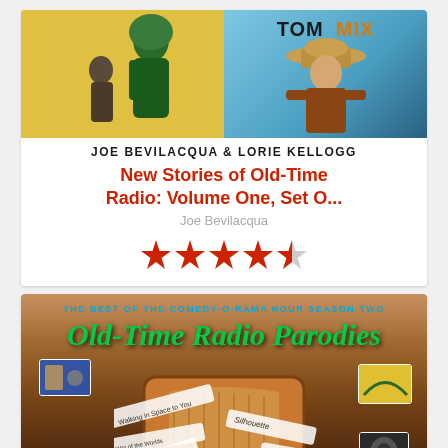[Figure (illustration): Book cover for 'New Stories of Old-Time Radio: Volume One, Set O...' featuring The Green Lama on yellow background (left) and Tom Mix on blue background (right), with author byline 'JOE BEVILACQUA & LORIE KELLOGG']
New Stories of Old-Time Radio: Volume One, Set O...
Joe Bevilacqua
[Figure (other): Star rating showing 4 filled red stars and 1 half/empty gray star]
[Figure (illustration): Book cover for 'Old Time Radio Parodies - The Best of the Comedy-O-Rama Hour Season Two' showing a vintage radio with various show banners including Silhouette, War of the Worlds, The Red Horse, and others on a warm brown background]